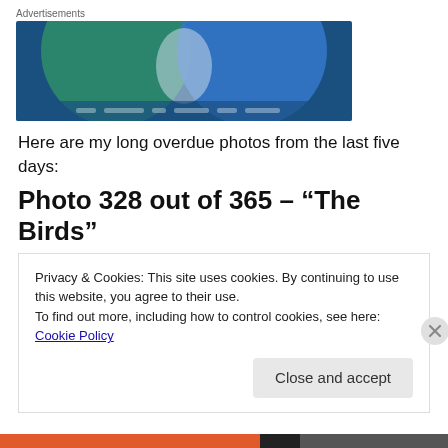[Figure (illustration): Advertisement banner with two overlapping circles (green and blue) on a dark blue background, forming a Venn diagram shape with a white/grey intersection area.]
Here are my long overdue photos from the last five days:
Photo 328 out of 365 – “The Birds”
Privacy & Cookies: This site uses cookies. By continuing to use this website, you agree to their use.
To find out more, including how to control cookies, see here: Cookie Policy
Close and accept